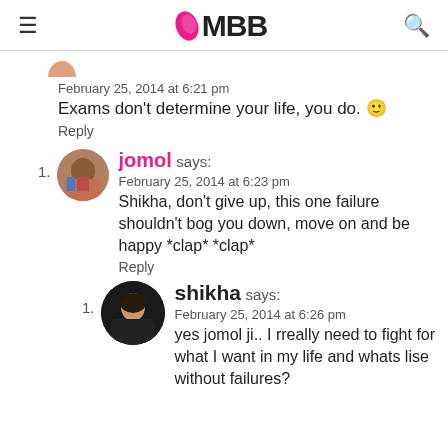IMBB
February 25, 2014 at 6:21 pm
Exams don't determine your life, you do. 🙂
Reply
jomol says:
February 25, 2014 at 6:23 pm
Shikha, don't give up, this one failure shouldn't bog you down, move on and be happy *clap* *clap*
Reply
shikha says:
February 25, 2014 at 6:26 pm
yes jomol ji.. I rreally need to fight for what I want in my life and whats lise without failures?